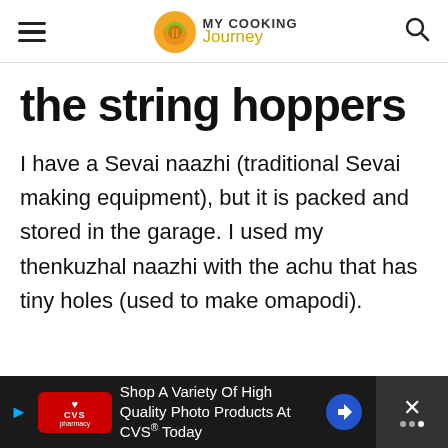MY COOKING Journey
the string hoppers
I have a Sevai naazhi (traditional Sevai making equipment), but it is packed and stored in the garage. I used my thenkuzhal naazhi with the achu that has tiny holes (used to make omapodi).
[Figure (infographic): Advertisement banner: CVS Pharmacy ad - Shop A Variety Of High Quality Photo Products At CVS® Today]